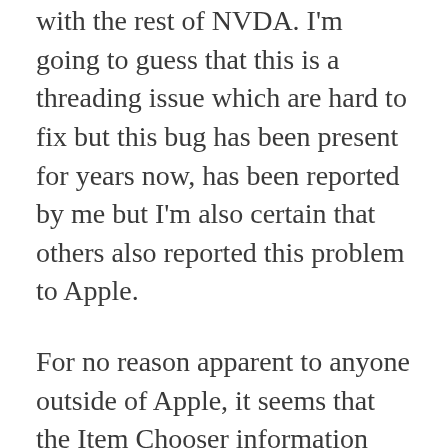with the rest of NVDA. I'm going to guess that this is a threading issue which are hard to fix but this bug has been present for years now, has been reported by me but I'm also certain that others also reported this problem to Apple.
For no reason apparent to anyone outside of Apple, it seems that the Item Chooser information isn't cached anywhere. Hence, when one hits VO+i on the same page twice, VO takes as much time to build the list the second time as the first. If the page hasn't changed, the Item